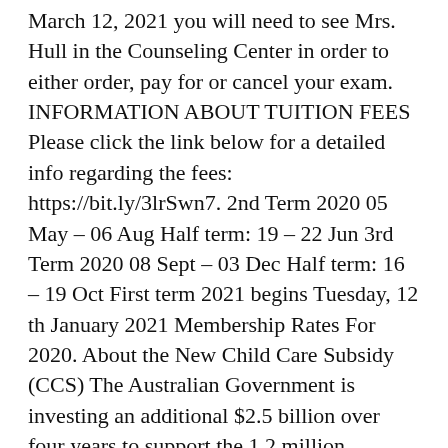March 12, 2021 you will need to see Mrs. Hull in the Counseling Center in order to either order, pay for or cancel your exam. INFORMATION ABOUT TUITION FEES Please click the link below for a detailed info regarding the fees: https://bit.ly/3lrSwn7. 2nd Term 2020 05 May – 06 Aug Half term: 19 – 22 Jun 3rd Term 2020 08 Sept – 03 Dec Half term: 16 – 19 Oct First term 2021 begins Tuesday, 12 th January 2021 Membership Rates For 2020. About the New Child Care Subsidy (CCS) The Australian Government is investing an additional $2.5 billion over four years to support the 1.2 million families who use approved child care. September 2020: “Hello World (The World is Ours)” by Aloe Blacc;